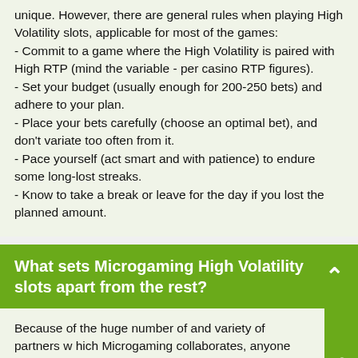unique. However, there are general rules when playing High Volatility slots, applicable for most of the games:
- Commit to a game where the High Volatility is paired with High RTP (mind the variable - per casino RTP figures).
- Set your budget (usually enough for 200-250 bets) and adhere to your plan.
- Place your bets carefully (choose an optimal bet), and don't variate too often from it.
- Pace yourself (act smart and with patience) to endure some long-lost streaks.
- Know to take a break or leave for the day if you lost the planned amount.
What sets Microgaming High Volatility slots apart from the rest?
Because of the huge number of and variety of partners with which Microgaming collaborates, anyone can admit that there are not many other Companies so prolific and extremely diverse in titles, themes and features as this